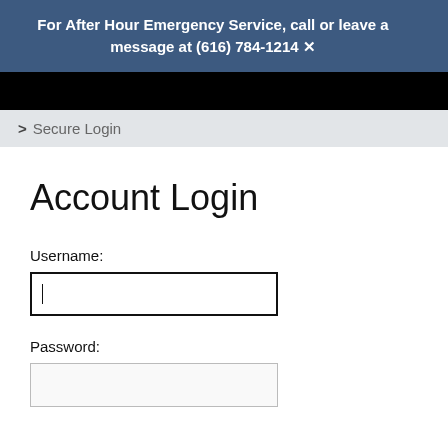For After Hour Emergency Service, call or leave a message at (616) 784-1214
> Secure Login
Account Login
Username:
Password: